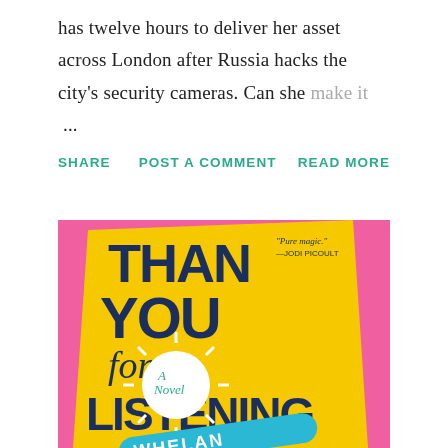has twelve hours to deliver her asset across London after Russia hacks the city's security cameras. Can she make it ...
SHARE   POST A COMMENT   READ MORE
[Figure (photo): Book cover of 'Thank You for Listening: A Novel' by Julia Whelan, shown at an angle against a pink background. The cover is yellow with bold dark blue text. A white circle with sun rays contains the text 'A Novel' in cursive. A teal band at the bottom shows 'WHELAN'. A blurb reads 'Pure magic. —JODI PICOULT'.]